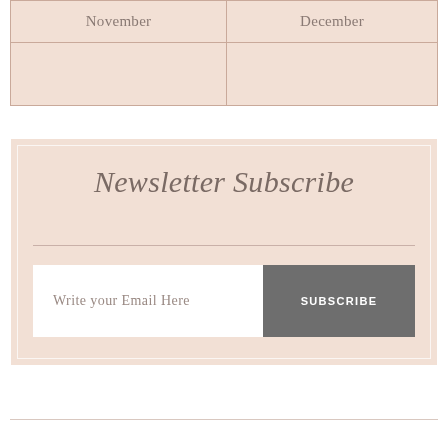| November | December |
| --- | --- |
|  |  |
Newsletter Subscribe
Write your Email Here
SUBSCRIBE